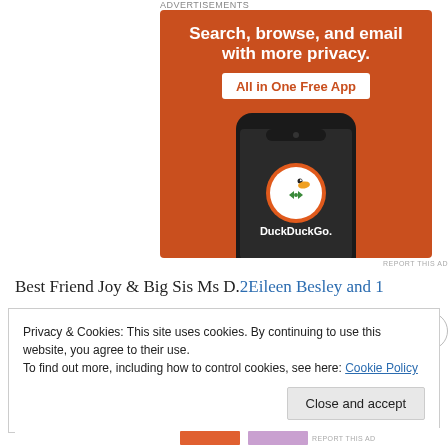Advertisements
[Figure (illustration): DuckDuckGo advertisement showing an orange background with white bold text reading 'Search, browse, and email with more privacy.' and a white badge reading 'All in One Free App' in orange text, plus a smartphone with the DuckDuckGo duck logo and app name.]
REPORT THIS AD
Best Friend Joy & Big Sis Ms D.2Eileen Besley and 1
Privacy & Cookies: This site uses cookies. By continuing to use this website, you agree to their use.
To find out more, including how to control cookies, see here: Cookie Policy
Close and accept